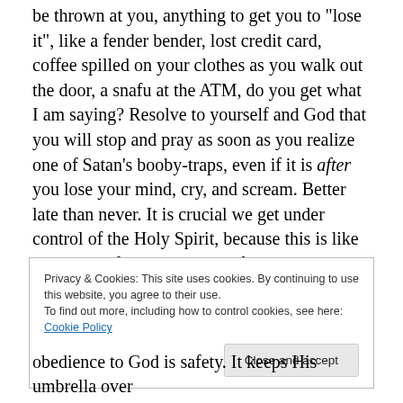be thrown at you, anything to get you to "lose it", like a fender bender, lost credit card, coffee spilled on your clothes as you walk out the door, a snafu at the ATM, do you get what I am saying? Resolve to yourself and God that you will stop and pray as soon as you realize one of Satan's booby-traps, even if it is after you lose your mind, cry, and scream. Better late than never. It is crucial we get under control of the Holy Spirit, because this is like week one of spin class, and if we don't build faith muscles now, what will we do when the stakes are higher and involve threat of torture, separation from loved ones or betrayal
Privacy & Cookies: This site uses cookies. By continuing to use this website, you agree to their use.
To find out more, including how to control cookies, see here: Cookie Policy
obedience to God is safety. It keeps His umbrella over